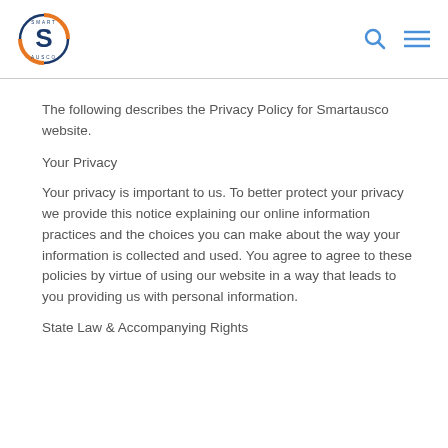[Figure (logo): Smartausco circular logo with S letter, blue and orange colors]
The following describes the Privacy Policy for Smartausco website.
Your Privacy
Your privacy is important to us. To better protect your privacy we provide this notice explaining our online information practices and the choices you can make about the way your information is collected and used. You agree to agree to these policies by virtue of using our website in a way that leads to you providing us with personal information.
State Law & Accompanying Rights